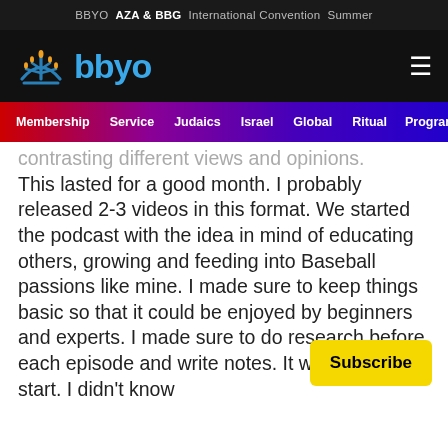BBYO  AZA & BBG  International Convention  Summer
[Figure (logo): BBYO logo with menorah icon and blue text 'bbyo' on black background, hamburger menu icon on right]
Membership  Service  Judaics  Israel  Global  Ritual  Programm...
contrasting different views and opinions. This lasted for a good month. I probably released 2-3 videos in this format. We started the podcast with the idea in mind of educating others, growing and feeding into Baseball passions like mine. I made sure to keep things basic so that it could be enjoyed by beginners and experts. I made sure to do research before each episode and write notes. It was a rocky start. I didn't know